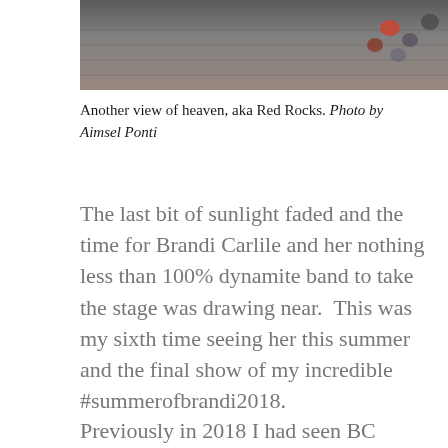[Figure (photo): Aerial/overhead view of people sitting on stadium steps or bleachers at Red Rocks amphitheater, taken from above]
Another view of heaven, aka Red Rocks. Photo by Aimsel Ponti
The last bit of sunlight faded and the time for Brandi Carlile and her nothing less than 100% dynamite band to take the stage was drawing near.  This was my sixth time seeing her this summer and the final show of my incredible #summerofbrandi2018.
Previously in 2018 I had seen BC twice in